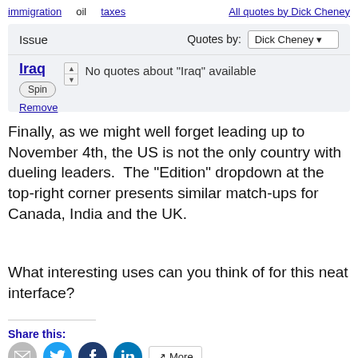immigration  oil  taxes  All quotes by Dick Cheney
[Figure (screenshot): Web interface panel with Issue label, Quotes by Dick Cheney dropdown, Iraq link with up/down spinner, No quotes about 'Iraq' available message, Spin button, and Remove link]
Finally, as we might well forget leading up to November 4th, the US is not the only country with dueling leaders.  The “Edition” dropdown at the top-right corner presents similar match-ups for Canada, India and the UK.
What interesting uses can you think of for this neat interface?
Share this: